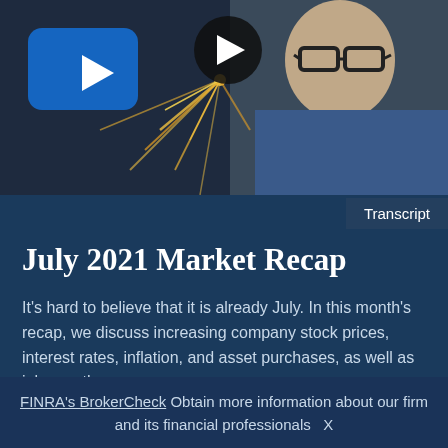[Figure (screenshot): Video thumbnail showing a person wearing glasses on the right side, fireworks/sparks in the background, a blue play button on the left, and a dark circular play button in the center]
Transcript
July 2021 Market Recap
It's hard to believe that it is already July. In this month's recap, we discuss increasing company stock prices, interest rates, inflation, and asset purchases, as well as job growth.
FINRA's BrokerCheck Obtain more information about our firm and its financial professionals  X